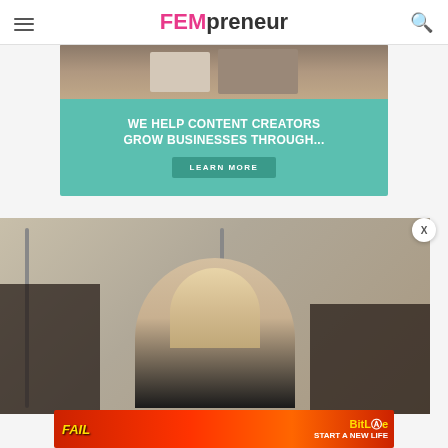FEMpreneur
[Figure (infographic): Advertisement banner with teal background reading WE HELP CONTENT CREATORS GROW BUSINESSES THROUGH... with a LEARN MORE button]
[Figure (photo): Smiling blonde woman in black jacket standing in a clothing store with racks of clothing visible]
[Figure (infographic): BitLife mobile game advertisement with red/orange background, animated fail graphic, and text START A NEW LIFE]